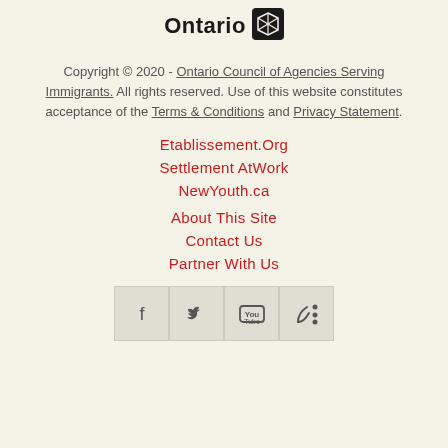[Figure (logo): Ontario government logo with trillium symbol]
Copyright © 2020 - Ontario Council of Agencies Serving Immigrants. All rights reserved. Use of this website constitutes acceptance of the Terms & Conditions and Privacy Statement.
Etablissement.Org
Settlement AtWork
NewYouth.ca
About This Site
Contact Us
Partner With Us
[Figure (infographic): Social media icons: Facebook, Twitter, YouTube, RSS]